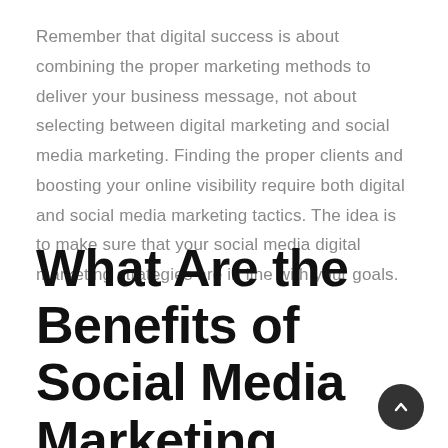Remember that digital success is about combining the proper marketing methods to deliver your business message, not about selecting between digital marketing and social media marketing. Finding the proper clients and boosting your online visibility require both digital and social media marketing tactics. The idea is to make sure that your social media digital marketing strategies are in line with your goals.
What Are the Benefits of Social Media Marketing Services?